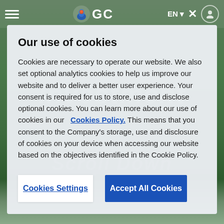[Figure (screenshot): Website background showing a green landscape/nature scene with partially visible navigation bar containing GC logo, EN language selector, close button, and hamburger menu icon. Background text shows 'Investment' and 'Scroll Down' watermarks.]
Our use of cookies
Cookies are necessary to operate our website. We also set optional analytics cookies to help us improve our website and to deliver a better user experience. Your consent is required for us to store, use and disclose optional cookies. You can learn more about our use of cookies in our  Cookies Policy. This means that you consent to the Company's storage, use and disclosure of cookies on your device when accessing our website based on the objectives identified in the Cookie Policy.
Cookies Settings
Accept All Cookies